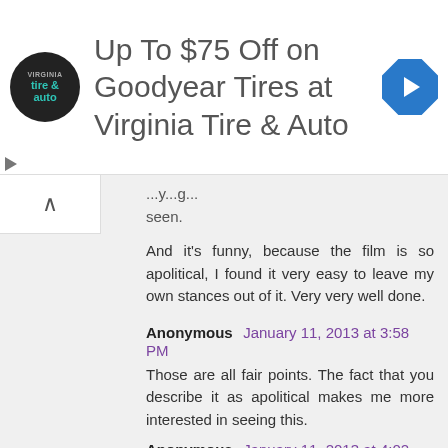[Figure (illustration): Advertisement banner: Virginia Tire & Auto logo on left, large text 'Up To $75 Off on Goodyear Tires at Virginia Tire & Auto', blue diamond navigation arrow icon on right]
...y...g...
seen.
And it's funny, because the film is so apolitical, I found it very easy to leave my own stances out of it. Very very well done.
Anonymous January 11, 2013 at 3:58 PM
Those are all fair points. The fact that you describe it as apolitical makes me more interested in seeing this.
Anonymous January 11, 2013 at 4:02 PM
BTW, when I mentioned widely mixed reviews, I'm not sure whether I was referring to